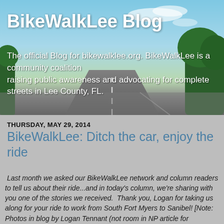[Figure (photo): Header banner with a road perspective photo showing a highway stretching into the distance, with blue sky, clouds, and trees on the sides. Serves as the blog header background.]
BikeWalkLee Blog
The official Blog for bikewalklee.org. BikeWalkLee is a community coalition raising public awareness and advocating for complete streets in Lee County, FL.
THURSDAY, MAY 29, 2014
BikeWalkLee: Ditch the car, enjoy the ride
Last month we asked our BikeWalkLee network and column readers to tell us about their ride...and in today's column, we're sharing with you one of the stories we received.  Thank you, Logan for taking us along for your ride to work from South Fort Myers to Sanibel! [Note: Photos in blog by Logan Tennant (not room in NP article for inclusion.]  Do you have a favorite route you like to bike, or a unique walk you'd like to